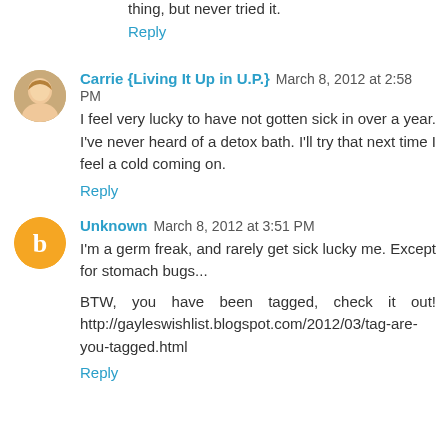thing, but never tried it.
Reply
Carrie {Living It Up in U.P.} March 8, 2012 at 2:58 PM
I feel very lucky to have not gotten sick in over a year. I've never heard of a detox bath. I'll try that next time I feel a cold coming on.
Reply
Unknown March 8, 2012 at 3:51 PM
I'm a germ freak, and rarely get sick lucky me. Except for stomach bugs...
BTW, you have been tagged, check it out! http://gayleswishlist.blogspot.com/2012/03/tag-are-you-tagged.html
Reply